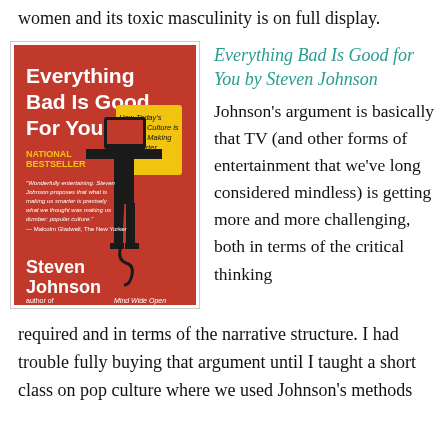women and its toxic masculinity is on full display.
[Figure (photo): Book cover of 'Everything Bad Is Good For You' by Steven Johnson. Red background with a black silhouette of a person holding a TV set as a head. The TV screen shows text 'How Today's Popular Culture is Actually Making Us Smarter'. Includes a 'National Bestseller' badge and a quote from Malcolm Gladwell, The New Yorker. Author name Steven Johnson at bottom left, with 'author of Mind Wide Open' at bottom right.]
Everything Bad Is Good for You by Steven Johnson
Johnson's argument is basically that TV (and other forms of entertainment that we've long considered mindless) is getting more and more challenging, both in terms of the critical thinking required and in terms of the narrative structure. I had trouble fully buying that argument until I taught a short class on pop culture where we used Johnson's methods